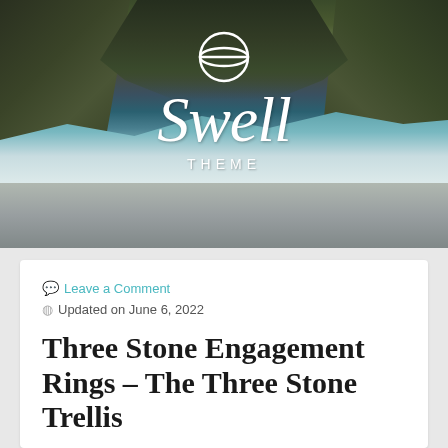[Figure (photo): Hero banner showing dramatic coastal rocks with crashing ocean waves and misty atmosphere. The Swell Theme logo is overlaid — a circular icon above cursive 'Swell' text with 'THEME' in spaced capitals below, all in white.]
💬 Leave a Comment
🕐 Updated on June 6, 2022
Three Stone Engagement Rings – The Three Stone Trellis